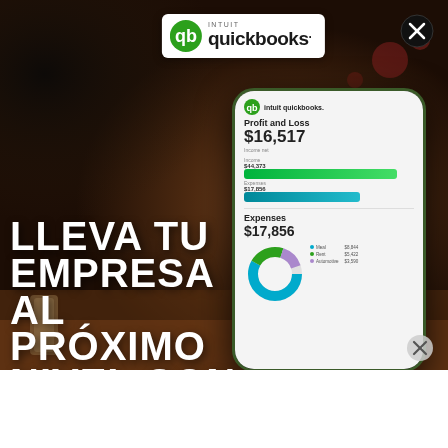[Figure (photo): Advertisement for Intuit QuickBooks in Spanish. Background shows a person holding a smartphone displaying the QuickBooks Profit and Loss screen ($16,517 income, $17,856 expenses) with bar charts and a donut chart. The QuickBooks logo appears at the top center. Large white bold uppercase text overlaid reads: LLEVA TU EMPRESA AL PRÓXIMO NIVEL CON FINANZAS CONFIABLES Y BIEN. Close (X) buttons appear in the top-right and bottom-right. The bottom portion is a white strip.]
LLEVA TU EMPRESA AL PRÓXIMO NIVEL CON FINANZAS CONFIABLES Y BIEN